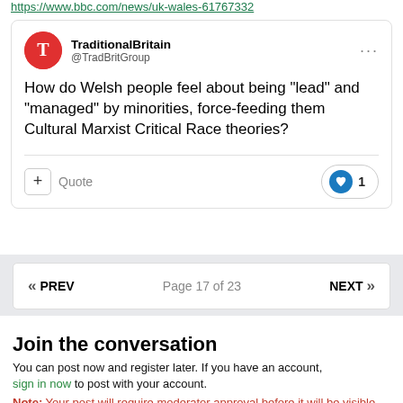https://www.bbc.com/news/uk-wales-61767332
TraditionalBritain @TradBritGroup
How do Welsh people feel about being "lead" and "managed" by minorities, force-feeding them Cultural Marxist Critical Race theories?
+ Quote   ♥ 1
« PREV   Page 17 of 23   NEXT »
Join the conversation
You can post now and register later. If you have an account, sign in now to post with your account.
Note: Your post will require moderator approval before it will be visible.